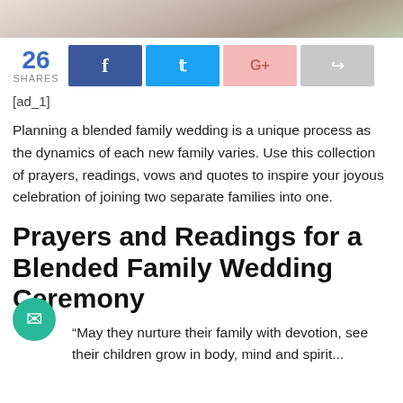[Figure (photo): Top portion of a wedding photo showing bride in white dress, partially cropped]
26 SHARES
[ad_1]
Planning a blended family wedding is a unique process as the dynamics of each new family varies. Use this collection of prayers, readings, vows and quotes to inspire your joyous celebration of joining two separate families into one.
Prayers and Readings for a Blended Family Wedding Ceremony
“May they nurture their family with devotion, see their children grow in body, mind and spirit...